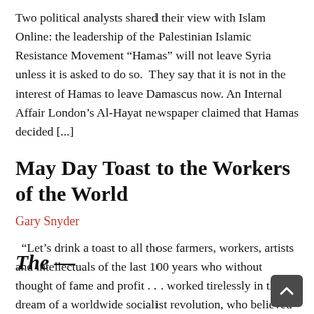Two political analysts shared their view with Islam Online: the leadership of the Palestinian Islamic Resistance Movement “Hamas” will not leave Syria unless it is asked to do so.  They say that it is not in the interest of Hamas to leave Damascus now. An Internal Affair London’s Al-Hayat newspaper claimed that Hamas decided [...]
May Day Toast to the Workers of the World
Gary Snyder
“Let’s drink a toast to all those farmers, workers, artists and intellectuals of the last 100 years who without thought of fame and profit . . . worked tirelessly in their dream of a worldwide socialist revolution, who believed and hoped that a new world was dawning and that their work would contribute to [...]